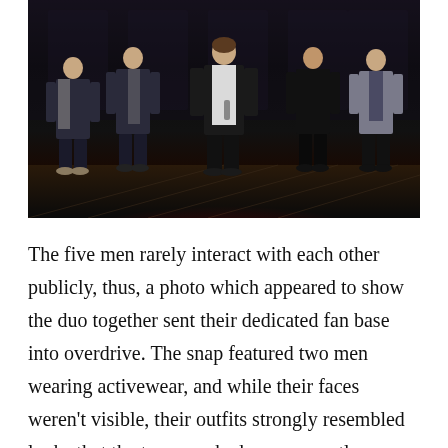[Figure (photo): Five men standing on a stage wearing suits and formal wear, performing or posing at what appears to be a music show or awards ceremony. The stage has dramatic lighting with red accents on the floor.]
The five men rarely interact with each other publicly, thus, a photo which appeared to show the duo together sent their dedicated fan base into overdrive. The snap featured two men wearing activewear, and while their faces weren't visible, their outfits strongly resembled looks that the two men had worn recently.